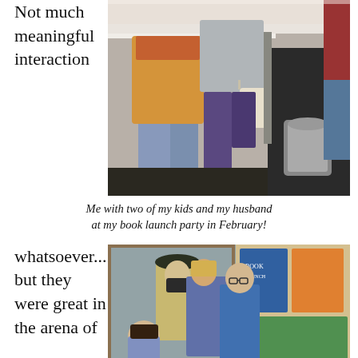Not much meaningful interaction
[Figure (photo): A group of people standing indoors at a party. A man in a yellow puffer jacket and jeans, a woman in a purple skirt holding a white handbag, and another woman in a dark dress are visible from roughly waist/chest down, with another person in red partially visible at right.]
Me with two of my kids and my husband at my book launch party in February!
whatsoever... but they were great in the arena of
[Figure (photo): A group photo showing people including someone in a military/naval uniform and cap, a woman, and a young man with glasses, standing in front of what appears to be a store or event display with colorful posters.]